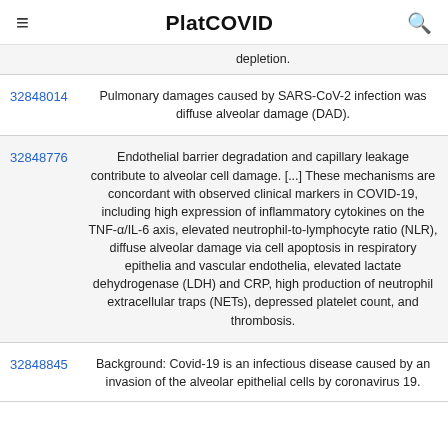PlatCOVID
depletion.
| ID | Text |
| --- | --- |
| 32848014 | Pulmonary damages caused by SARS-CoV-2 infection was diffuse alveolar damage (DAD). |
| 32848776 | Endothelial barrier degradation and capillary leakage contribute to alveolar cell damage. [...] These mechanisms are concordant with observed clinical markers in COVID-19, including high expression of inflammatory cytokines on the TNF-α/IL-6 axis, elevated neutrophil-to-lymphocyte ratio (NLR), diffuse alveolar damage via cell apoptosis in respiratory epithelia and vascular endothelia, elevated lactate dehydrogenase (LDH) and CRP, high production of neutrophil extracellular traps (NETs), depressed platelet count, and thrombosis. |
| 32848845 | Background: Covid-19 is an infectious disease caused by an invasion of the alveolar epithelial cells by coronavirus 19. |